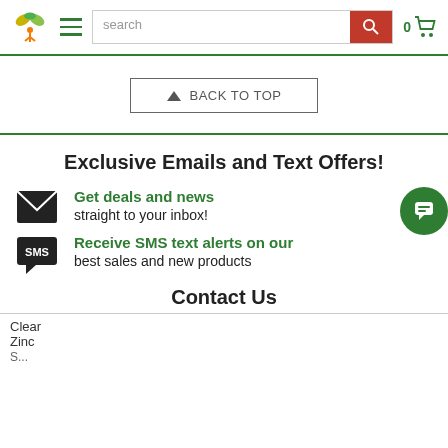Navigation header with logo, hamburger menu, search bar, and cart
[Figure (screenshot): Back to top button with upward arrow]
Exclusive Emails and Text Offers!
Get deals and news straight to your inbox!
Receive SMS text alerts on our best sales and new products
Contact Us
Clear Zinc S...